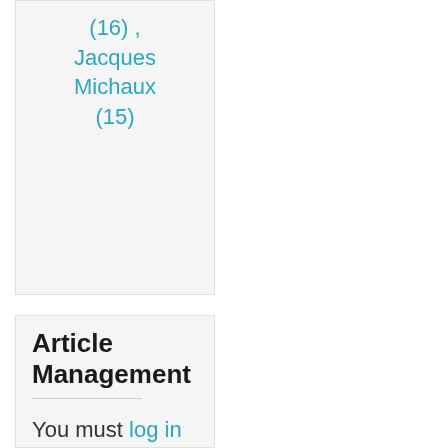(16) , Jacques Michaux (15)
Article Management
You must log in to submit or manage articles.
You do not